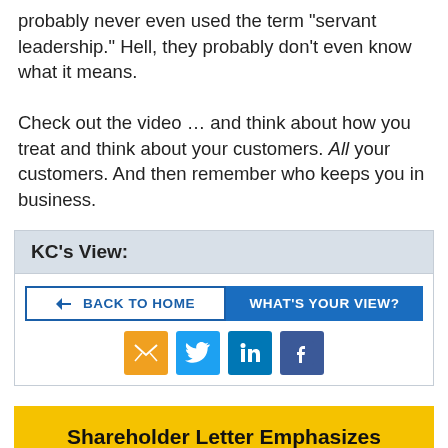probably never even used the term "servant leadership." Hell, they probably don't even know what it means.

Check out the video … and think about how you treat and think about your customers. All your customers. And then remember who keeps you in business.
KC's View:
BACK TO HOME   WHAT'S YOUR VIEW?
[Figure (infographic): Social sharing icons: email (orange), Twitter (light blue), LinkedIn (blue), Facebook (dark blue)]
Shareholder Letter Emphasizes Amazon's Culture Of Failure